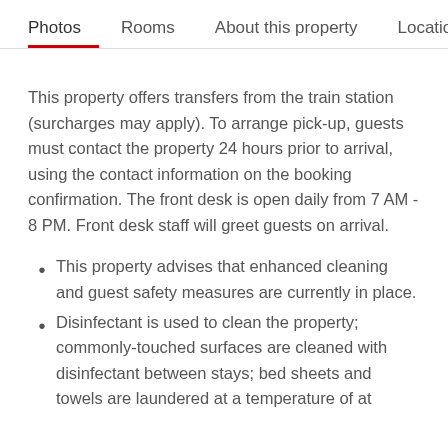Photos  Rooms  About this property  Location
This property offers transfers from the train station (surcharges may apply). To arrange pick-up, guests must contact the property 24 hours prior to arrival, using the contact information on the booking confirmation. The front desk is open daily from 7 AM - 8 PM. Front desk staff will greet guests on arrival.
This property advises that enhanced cleaning and guest safety measures are currently in place.
Disinfectant is used to clean the property; commonly-touched surfaces are cleaned with disinfectant between stays; bed sheets and towels are laundered at a temperature of at